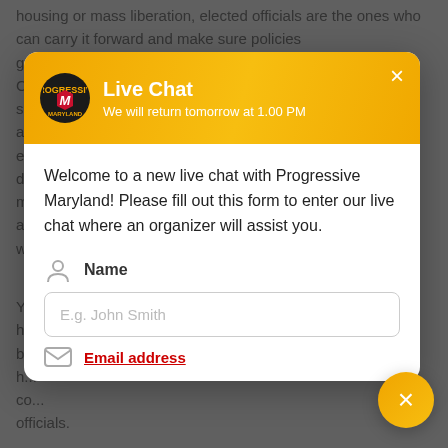housing or mass liberation, elected officials are the ones who can carry it forward and make sure policies g... C... sp... a... e... d... m... a... w...
[Figure (screenshot): Live Chat modal overlay from Progressive Maryland. Header with orange gradient background, logo, title 'Live Chat', subtitle 'We will return tomorrow at 1.00 PM', close X button. Body shows welcome message, Name field with icon and placeholder 'E.g. John Smith', and partially visible Email field below.]
Ye... ha... b... h... co... officials.

To me, this shows that when folks see the impact of bad elected officials, who don't stand up for the people, the backlash is hard. Places where the Democratic